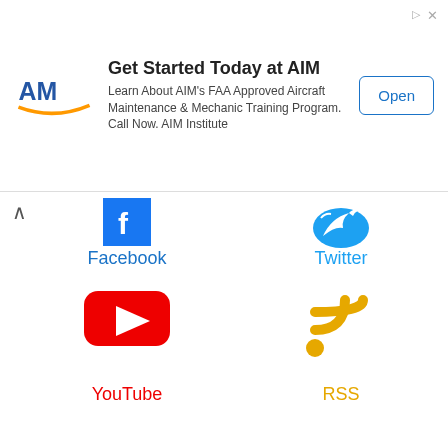[Figure (infographic): Advertisement banner for AIM Institute. Logo on left, text 'Get Started Today at AIM' with body copy about FAA Approved Aircraft Maintenance & Mechanic Training Program, and an 'Open' button on the right.]
[Figure (infographic): Social media icons: Facebook (blue square icon), Twitter (blue bird icon), YouTube (red play button icon), RSS (orange wifi-style icon)]
Facebook
Twitter
YouTube
RSS
Game Articles | Contact Us | Privacy Policy | Cookie Policy
English | Русский | Español | Français | العربية | Português | Deutsch
(c) 2010-2022 GameHitZone.com